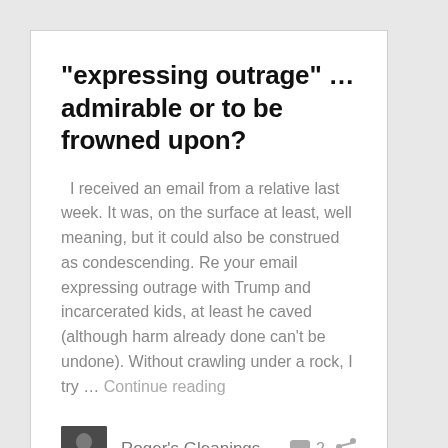“expressing outrage” … admirable or to be frowned upon?
I received an email from a relative last week. It was, on the surface at least, well meaning, but it could also be construed as condescending. Re your email expressing outrage with Trump and incarcerated kids, at least he caved (although harm already done can’t be undone). Without crawling under a rock, I try … Continue reading
Roger’s Gleanings  2